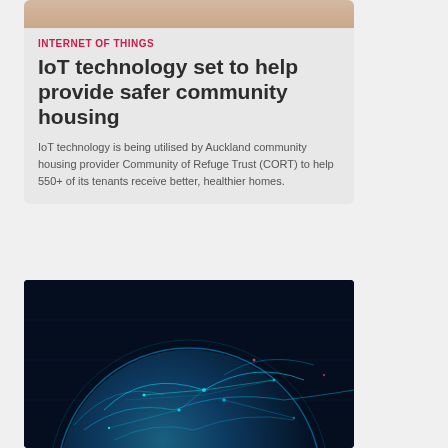[Figure (photo): Top portion of a card showing a cropped photo (beige/skin tones visible at top of card)]
INTERNET OF THINGS
IoT technology set to help provide safer community housing
IoT technology is being utilised by Auckland community housing provider Community of Refuge Trust (CORT) to help 550+ of its tenants receive better, healthier homes.
[Figure (photo): Dark image of Earth from space with glowing blue network connections and digital lines overlaid, representing Internet of Things / global connectivity]